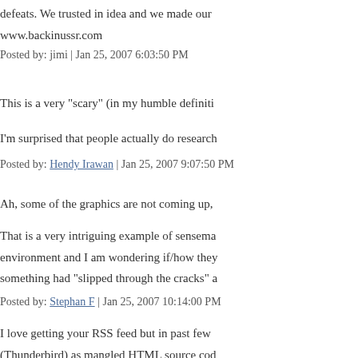defeats. We trusted in idea and we made our
www.backinussr.com
Posted by: jimi | Jan 25, 2007 6:03:50 PM
This is a very "scary" (in my humble definiti
I'm surprised that people actually do research
Posted by: Hendy Irawan | Jan 25, 2007 9:07:50 PM
Ah, some of the graphics are not coming up,
That is a very intriguing example of sensema
environment and I am wondering if/how they
something had "slipped through the cracks" a
Posted by: Stephan F | Jan 25, 2007 10:14:00 PM
I love getting your RSS feed but in past few
(Thunderbird) as mangled HTML source cod
This passionate user is going blind trying to